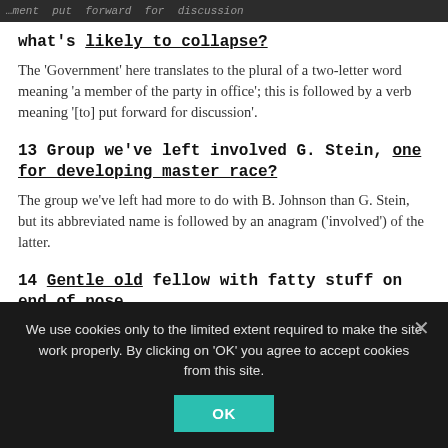…ment put forward for discussion
what's likely to collapse?
The 'Government' here translates to the plural of a two-letter word meaning 'a member of the party in office'; this is followed by a verb meaning '[to] put forward for discussion'.
13 Group we've left involved G. Stein, one for developing master race?
The group we've left had more to do with B. Johnson than G. Stein, but its abbreviated name is followed by an anagram ('involved') of the latter.
14 Gentle old fellow with fatty stuff on end of nose
We use cookies only to the limited extent required to make the site work properly. By clicking on 'OK' you agree to accept cookies from this site.